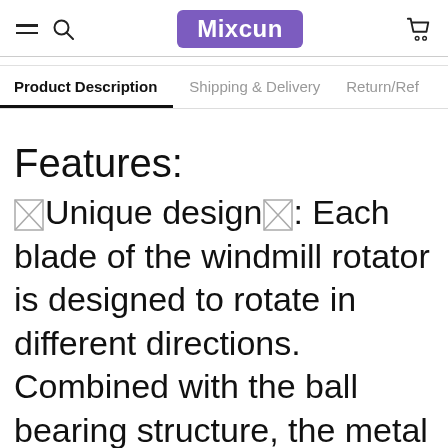Mixcun
Product Description | Shipping & Delivery | Return/Ref
Features:
🗙Unique design🗙: Each blade of the windmill rotator is designed to rotate in different directions. Combined with the ball bearing structure, the metal windmill rotator spin in the